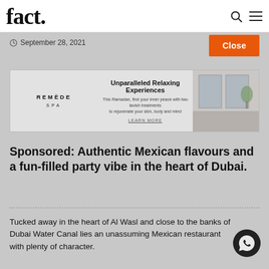fact.
September 28, 2021
Close
[Figure (other): Remède Spa advertisement banner: 'Unparalleled Relaxing Experiences. This Ramadan, find your inner peace with two lavish treatments to rejuvenate your skin, body and mind. LEARN MORE']
Sponsored: Authentic Mexican flavours and a fun-filled party vibe in the heart of Dubai.
Tucked away in the heart of Al Wasl and close to the banks of Dubai Water Canal lies an unassuming Mexican restaurant with plenty of character.